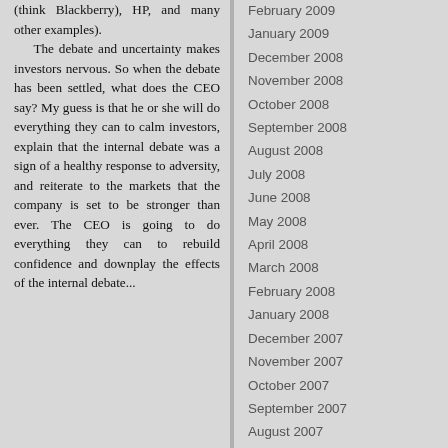(think Blackberry), HP, and many other examples). The debate and uncertainty makes investors nervous. So when the debate has been settled, what does the CEO say? My guess is that he or she will do everything they can to calm investors, explain that the internal debate was a sign of a healthy response to adversity, and reiterate to the markets that the company is set to be stronger than ever. The CEO is going to do everything they can to rebuild confidence and downplay the effects of the internal debate...
February 2009
January 2009
December 2008
November 2008
October 2008
September 2008
August 2008
July 2008
June 2008
May 2008
April 2008
March 2008
February 2008
January 2008
December 2007
November 2007
October 2007
September 2007
August 2007
July 2007
June 2007
May 2007